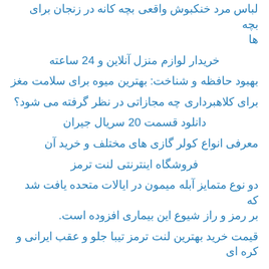لباس مرد خنکبوش واقعی بچه کانه در زنجان برای بچه ها
خریدار لوازم منزل آنلاین و 24 ساعته
بهبود حافظه و شناخت: بهترین میوه برای سلامت مغز
برای کلاهبرداری چه مجازاتی در نظر گرفته می شود؟
دانلود قسمت 20 سریال جیران
معرفی انواع کولر گازی های مختلف و خرید آن
فروشگاه اینترنتی لنت ترمز
دو نوع متمایز آبله میمون در ایالات متحده یافت شد که بر رمز و راز شیوع این بیماری افزوده است.
قیمت خرید بهترین لنت ترمز تیبا جلو و عقب ایرانی و کره ای